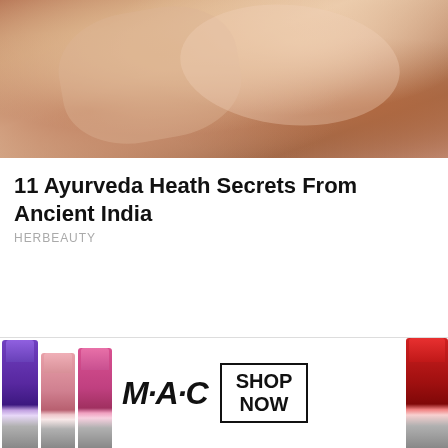[Figure (photo): Close-up photo of skin/fingers with warm peach and brown tones]
11 Ayurveda Heath Secrets From Ancient India
HERBEAUTY
With These Easy And Effective Fitness Moves,
[Figure (photo): MAC cosmetics advertisement banner showing lipsticks in purple, pink, and red with MAC logo and SHOP NOW button]